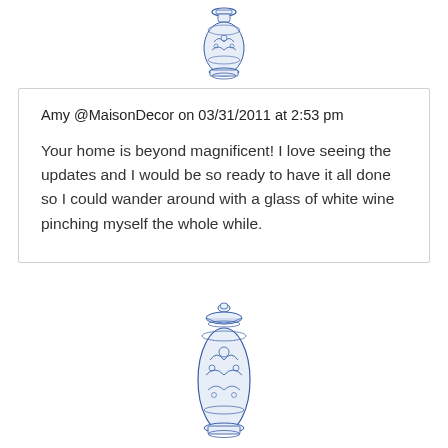[Figure (illustration): Blue and white Chinese-style ceramic vase illustration (top portion visible) centered at the top of the page]
Amy @MaisonDecor on 03/31/2011 at 2:53 pm
Your home is beyond magnificent! I love seeing the updates and I would be so ready to have it all done so I could wander around with a glass of white wine pinching myself the whole while.
[Figure (illustration): Blue and white Chinese-style ceramic ginger jar/vase illustration centered in the lower portion of the page]